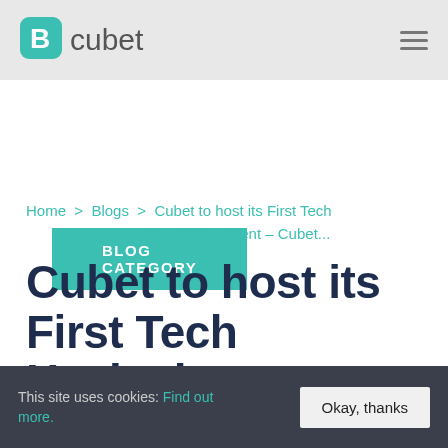cubet
BLOG CATEGORY
Home > Blogs > Cubet to host its First Tech Hackathon Event – Cubet...
Cubet to host its First Tech Hackathon Event – Cubet...
This site uses cookies: Find out more.
Okay, thanks